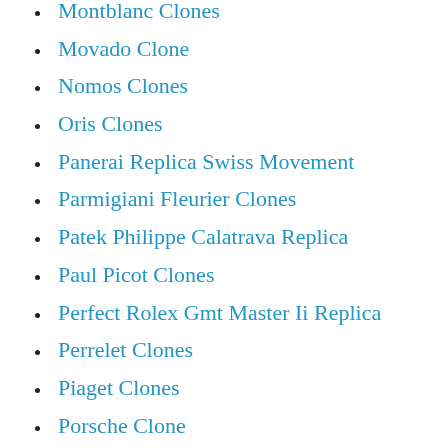Montblanc Clones
Movado Clone
Nomos Clones
Oris Clones
Panerai Replica Swiss Movement
Parmigiani Fleurier Clones
Patek Philippe Calatrava Replica
Paul Picot Clones
Perfect Rolex Gmt Master Ii Replica
Perrelet Clones
Piaget Clones
Porsche Clone
Quality Fake Rolex
Rado Clones
Raymond Weil Clones
Replica Watches Swiss Usa Paypal